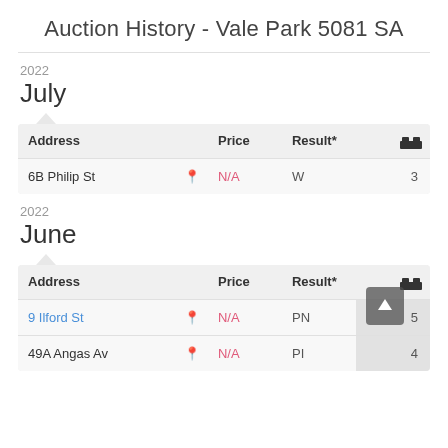Auction History - Vale Park 5081 SA
2022
July
| Address |  | Price | Result* | 🛏 |
| --- | --- | --- | --- | --- |
| 6B Philip St | 📍 | N/A | W | 3 |
2022
June
| Address |  | Price | Result* | 🛏 |
| --- | --- | --- | --- | --- |
| 9 Ilford St | 📍 | N/A | PN | 5 |
| 49A Angas Av | 📍 | N/A | PI | 4 |